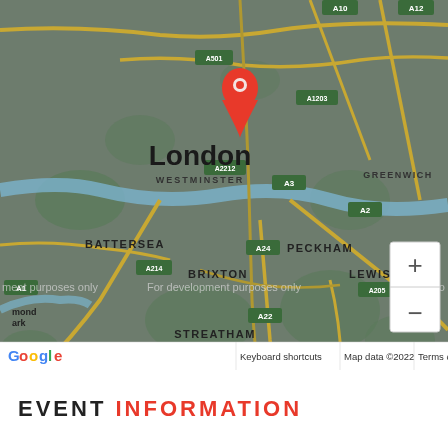[Figure (map): Google Maps view of London, UK, centered on Westminster area with a red location pin dropped on London. Map shows surrounding areas including Battersea, Peckham, Brixton, Lewisham, Streatham, Wimbledon, Greenwich. Map footer shows Google logo, 'Keyboard shortcuts', 'Map data ©2022', and 'Terms of Use'. Zoom controls visible on the right side. Watermark reads 'For development purposes only'.]
EVENT INFORMATION